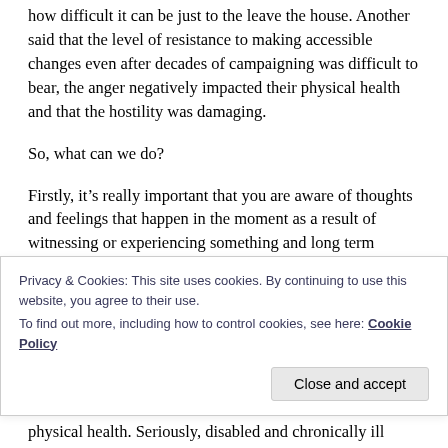how difficult it can be just to the leave the house. Another said that the level of resistance to making accessible changes even after decades of campaigning was difficult to bear, the anger negatively impacted their physical health and that the hostility was damaging.
So, what can we do?
Firstly, it’s really important that you are aware of thoughts and feelings that happen in the moment as a result of witnessing or experiencing something and long term thoughts and feelings alongside other symptoms
Privacy & Cookies: This site uses cookies. By continuing to use this website, you agree to their use.
To find out more, including how to control cookies, see here: Cookie Policy
Close and accept
physical health. Seriously, disabled and chronically ill